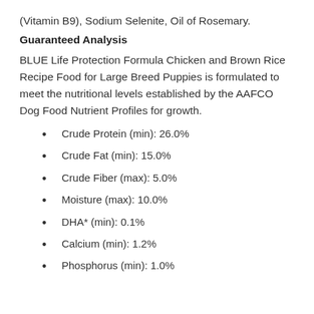(Vitamin B9), Sodium Selenite, Oil of Rosemary.
Guaranteed Analysis
BLUE Life Protection Formula Chicken and Brown Rice Recipe Food for Large Breed Puppies is formulated to meet the nutritional levels established by the AAFCO Dog Food Nutrient Profiles for growth.
Crude Protein (min): 26.0%
Crude Fat (min): 15.0%
Crude Fiber (max): 5.0%
Moisture (max): 10.0%
DHA* (min): 0.1%
Calcium (min): 1.2%
Phosphorus (min): 1.0%